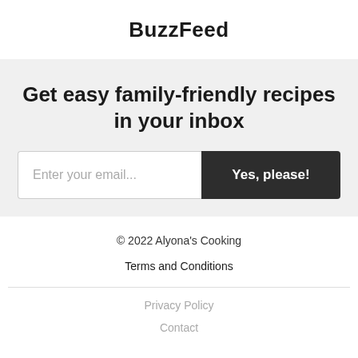BuzzFeed
Get easy family-friendly recipes in your inbox
Enter your email... Yes, please!
© 2022 Alyona's Cooking
Terms and Conditions
Privacy Policy
Contact